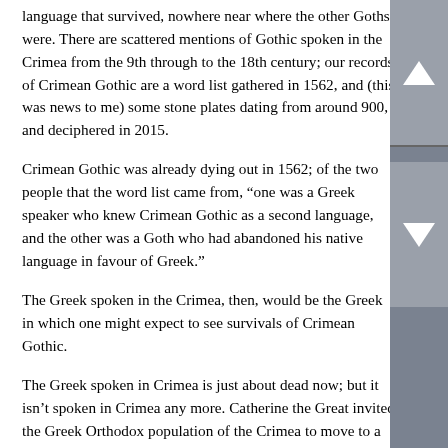language that survived, nowhere near where the other Goths were. There are scattered mentions of Gothic spoken in the Crimea from the 9th through to the 18th century; our records of Crimean Gothic are a word list gathered in 1562, and (this was news to me) some stone plates dating from around 900, and deciphered in 2015.
Crimean Gothic was already dying out in 1562; of the two people that the word list came from, “one was a Greek speaker who knew Crimean Gothic as a second language, and the other was a Goth who had abandoned his native language in favour of Greek.”
The Greek spoken in the Crimea, then, would be the Greek in which one might expect to see survivals of Crimean Gothic.
The Greek spoken in Crimea is just about dead now; but it isn’t spoken in Crimea any more. Catherine the Great invited the Greek Orthodox population of the Crimea to move to a new town in the Ukraine, Mariupol. (Mariupol is under Ukrainian control—just, but is right next door to the Donetsk People’s Republic, and has been shelled.) The variant of Greek spoken in the villages surrounding Mariupol is called Mariupol Greek. Noone has reported any Gothic in it. A whole lot of Russian, sure, and some Pontic (one of those villages was actually settled from the Pontus in 1826). And a whole lot of Urum,